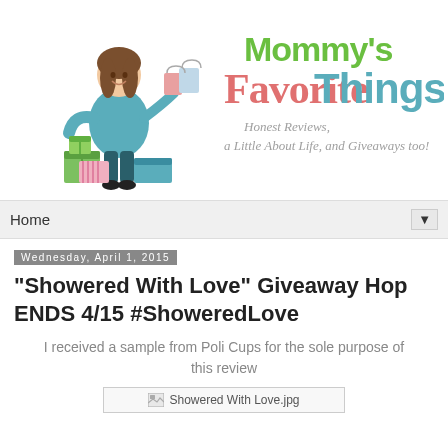[Figure (logo): Mommy's Favorite Things blog header logo with illustration of woman sitting on gift boxes with shopping bags, and text 'Mommy's Favorite Things – Honest Reviews, a Little About Life, and Giveaways too!']
Home ▼
Wednesday, April 1, 2015
"Showered With Love" Giveaway Hop ENDS 4/15 #ShoweredLove
I received a sample from Poli Cups for the sole purpose of this review
[Figure (photo): Broken image placeholder labeled 'Showered With Love.jpg']